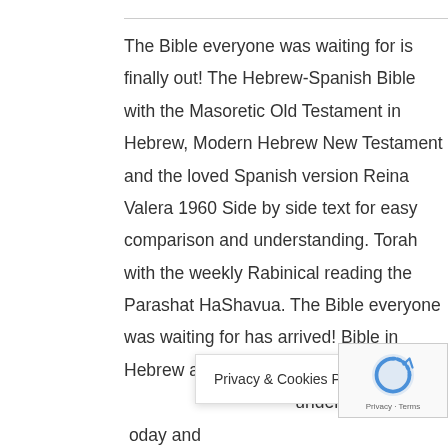The Bible everyone was waiting for is finally out! The Hebrew-Spanish Bible with the Masoretic Old Testament in Hebrew, Modern Hebrew New Testament and the loved Spanish version Reina Valera 1960 Side by side text for easy comparison and understanding. Torah with the weekly Rabinical reading the Parashat HaShavua. The Bible everyone was waiting for has arrived! Bible in Hebrew and Spanish side by side for easy comparison and understanding today and
Privacy & Cookies Policy